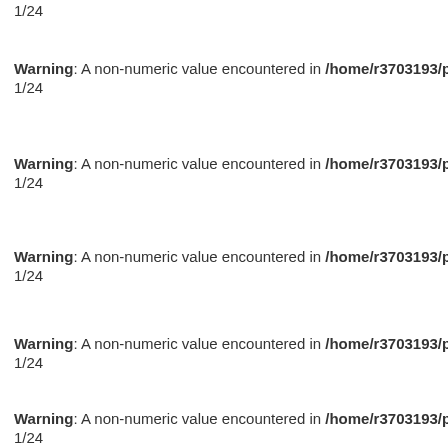1/24
Warning: A non-numeric value encountered in /home/r3703193/public_html/green
1/24
Warning: A non-numeric value encountered in /home/r3703193/public_html/green
1/24
Warning: A non-numeric value encountered in /home/r3703193/public_html/green
1/24
Warning: A non-numeric value encountered in /home/r3703193/public_html/green
1/24
Warning: A non-numeric value encountered in /home/r3703193/public_html/green
1/24